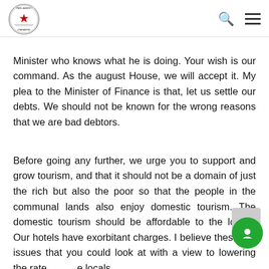Parliament of Zimbabwe
Minister who knows what he is doing. Your wish is our command. As the august House, we will accept it. My plea to the Minister of Finance is that, let us settle our debts. We should not be known for the wrong reasons that we are bad debtors.
Before going any further, we urge you to support and grow tourism, and that it should not be a domain of just the rich but also the poor so that the people in the communal lands also enjoy domestic tourism. The domestic tourism should be affordable to the locals. Our hotels have exorbitant charges. I believe these are issues that you could look at with a view to lowering the rates for the locals.